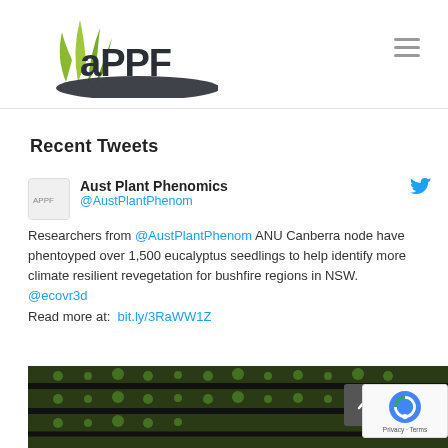[Figure (logo): APPF (Australian Plant Phenomics Facility) logo with green stylized plant/grass icon and dark text 'aPPF']
Recent Tweets
[Figure (screenshot): Tweet from Aust Plant Phenomics (@AustPlantPhenom): Researchers from @AustPlantPhenom ANU Canberra node have phentoyped over 1,500 eucalyptus seedlings to help identify more climate resilient revegetation for bushfire regions in NSW. @ecovr3d Read more at: bit.ly/3RaWW1Z]
[Figure (photo): Photo of eucalyptus seedlings in trays, aerial/overhead view, dark background with green plants visible]